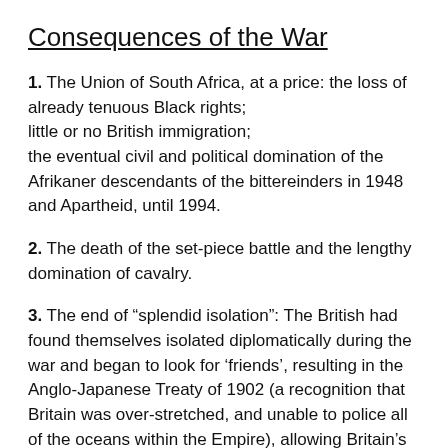Consequences of the War
1. The Union of South Africa, at a price: the loss of already tenuous Black rights; little or no British immigration; the eventual civil and political domination of the Afrikaner descendants of the bittereinders in 1948 and Apartheid, until 1994.
2. The death of the set-piece battle and the lengthy domination of cavalry.
3. The end of “splendid isolation”: The British had found themselves isolated diplomatically during the war and began to look for ‘friends’, resulting in the Anglo-Japanese Treaty of 1902 (a recognition that Britain was over-stretched, and unable to police all of the oceans within the Empire), allowing Britain’s